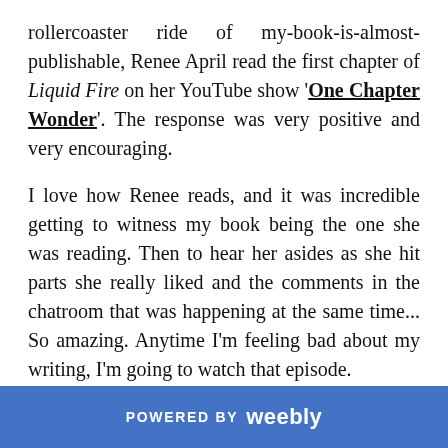rollercoaster ride of my-book-is-almost-publishable, Renee April read the first chapter of Liquid Fire on her YouTube show 'One Chapter Wonder'. The response was very positive and very encouraging.
I love how Renee reads, and it was incredible getting to witness my book being the one she was reading. Then to hear her asides as she hit parts she really liked and the comments in the chatroom that was happening at the same time... So amazing. Anytime I'm feeling bad about my writing, I'm going to watch that episode.
POWERED BY weebly